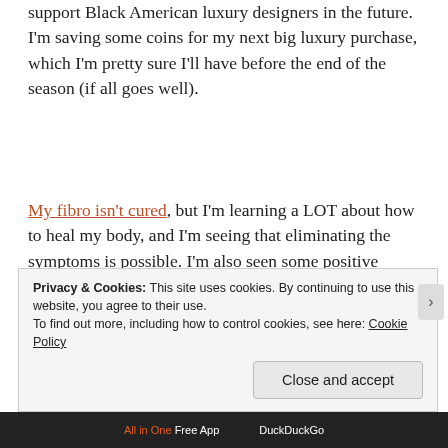support Black American luxury designers in the future. I'm saving some coins for my next big luxury purchase, which I'm pretty sure I'll have before the end of the season (if all goes well).
My fibro isn't cured, but I'm learning a LOT about how to heal my body, and I'm seeing that eliminating the symptoms is possible. I'm also seen some positive effects after removing my medications (not nearly as exhausted or achy as I thought I'd be). For all of this, I'm thankful, and I'm going to press on and share information as I get it in this upcoming year.
Privacy & Cookies: This site uses cookies. By continuing to use this website, you agree to their use. To find out more, including how to control cookies, see here: Cookie Policy
Close and accept
All in One Free App   DuckDuckGo